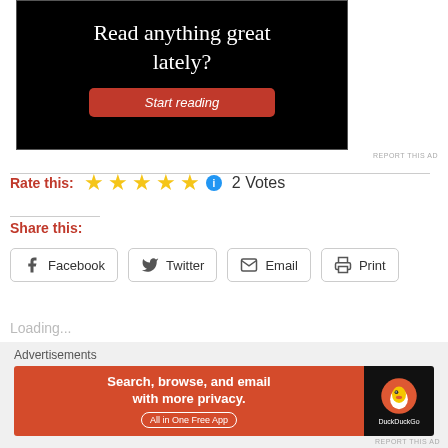[Figure (screenshot): Black advertisement banner with text 'Read anything great lately?' and a red 'Start reading' button]
REPORT THIS AD
★★★★★ ℹ 2 Votes
Rate this:
Share this:
Facebook  Twitter  Email  Print
Loading...
Advertisements
[Figure (screenshot): DuckDuckGo advertisement: 'Search, browse, and email with more privacy. All in One Free App' with DuckDuckGo logo]